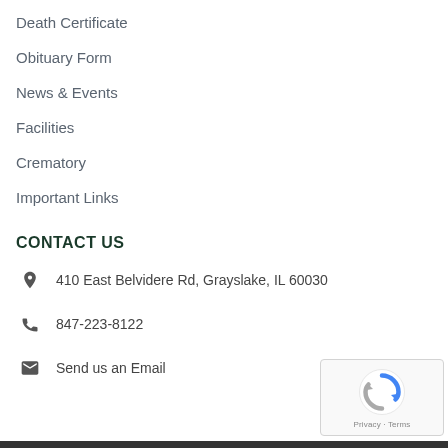Death Certificate
Obituary Form
News & Events
Facilities
Crematory
Important Links
CONTACT US
410 East Belvidere Rd, Grayslake, IL 60030
847-223-8122
Send us an Email
[Figure (logo): reCAPTCHA badge with Privacy and Terms links]